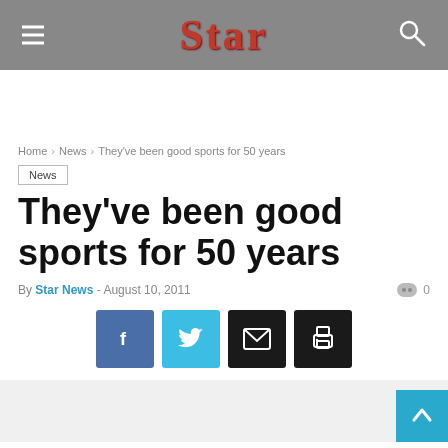Star
Home › News › They've been good sports for 50 years
News
They've been good sports for 50 years
By Star News - August 10, 2011   0
[Figure (screenshot): Social share buttons: Facebook (blue), Twitter (light blue), Email (black), Print (black)]
[Figure (other): Gray content area at bottom of page with back-to-top cyan button in bottom right]